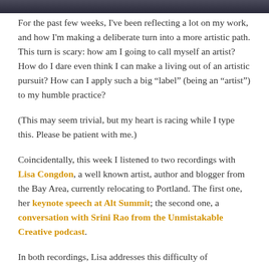[Figure (photo): Partial photo strip at top of page, dark blue-gray background]
For the past few weeks, I've been reflecting a lot on my work, and how I'm making a deliberate turn into a more artistic path. This turn is scary: how am I going to call myself an artist? How do I dare even think I can make a living out of an artistic pursuit? How can I apply such a big “label” (being an “artist”) to my humble practice?
(This may seem trivial, but my heart is racing while I type this. Please be patient with me.)
Coincidentally, this week I listened to two recordings with Lisa Congdon, a well known artist, author and blogger from the Bay Area, currently relocating to Portland. The first one, her keynote speech at Alt Summit; the second one, a conversation with Srini Rao from the Unmistakable Creative podcast.
In both recordings, Lisa addresses this difficulty of